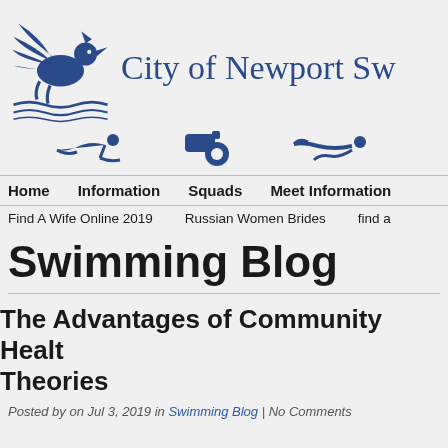[Figure (logo): City of Newport swimming club logo — blue winged horse/griffin with wave motif]
City of Newport Sw
[Figure (illustration): Three blue navigation icons: swimmer, whistle, swimmer doing butterfly stroke]
Home | Information | Squads | Meet Information
Find A Wife Online 2019 | Russian Women Brides | find a
Swimming Blog
The Advantages of Community Health Theories
Posted by on Jul 3, 2019 in Swimming Blog | No Comments